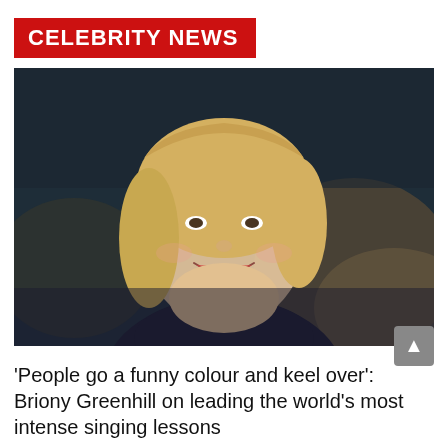CELEBRITY NEWS
[Figure (photo): Portrait photo of Briony Greenhill, a blonde woman smiling, wearing a dark turtleneck, photographed outdoors against a rocky background. A red 'MEDIA' tag appears in the lower left, and The Guardian logo appears in the lower right of the image.]
'People go a funny colour and keel over': Briony Greenhill on leading the world's most intense singing lessons